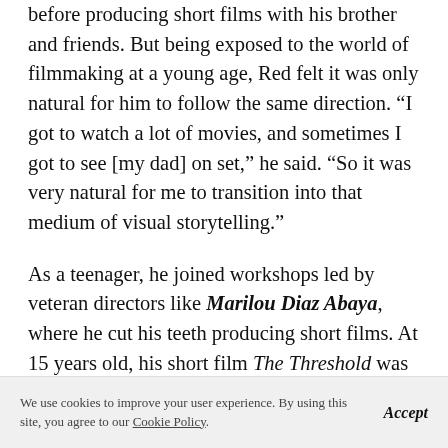before producing short films with his brother and friends. But being exposed to the world of filmmaking at a young age, Red felt it was only natural for him to follow the same direction. “I got to watch a lot of movies, and sometimes I got to see [my dad] on set,” he said. “So it was very natural for me to transition into that medium of visual storytelling.”
As a teenager, he joined workshops led by veteran directors like Marilou Diaz Abaya, where he cut his teeth producing short films. At 15 years old, his short film The Threshold was accepted into a film festival in Germany, exposing him to the international film
We use cookies to improve your user experience. By using this site, you agree to our Cookie Policy.